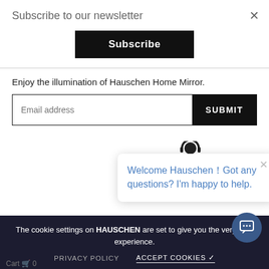Subscribe to our newsletter
Subscribe
Enjoy the illumination of Hauschen Home Mirror.
Email address
SUBMIT
Welcome Hauschen！Got any questions? I'm happy to help.
© 2022 Monamii.cn All Rights Reserved
The cookie settings on HAUSCHEN are set to give you the very best experience.
PRIVACY POLICY
ACCEPT COOKIES ✓